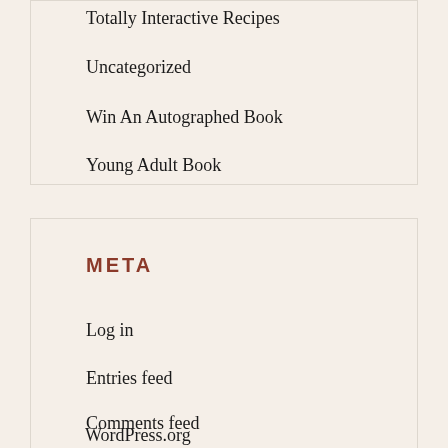Totally Interactive Recipes
Uncategorized
Win An Autographed Book
Young Adult Book
META
Log in
Entries feed
Comments feed
WordPress.org